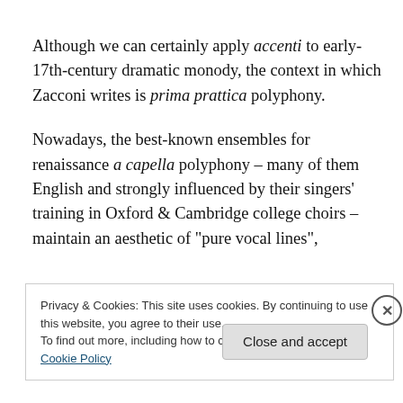Although we can certainly apply accenti to early-17th-century dramatic monody, the context in which Zacconi writes is prima prattica polyphony.
Nowadays, the best-known ensembles for renaissance a capella polyphony – many of them English and strongly influenced by their singers' training in Oxford & Cambridge college choirs – maintain an aesthetic of "pure vocal lines",
Privacy & Cookies: This site uses cookies. By continuing to use this website, you agree to their use.
To find out more, including how to control cookies, see here: Cookie Policy